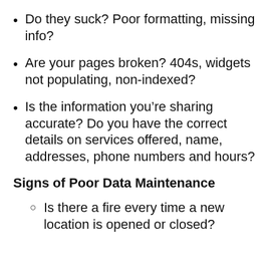Do they suck? Poor formatting, missing info?
Are your pages broken? 404s, widgets not populating, non-indexed?
Is the information you're sharing accurate? Do you have the correct details on services offered, name, addresses, phone numbers and hours?
Signs of Poor Data Maintenance
Is there a fire every time a new location is opened or closed?